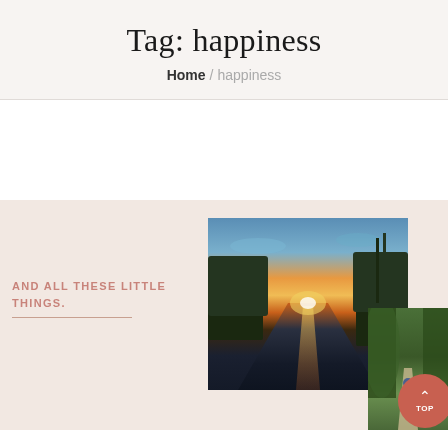Tag: happiness
Home / happiness
[Figure (photo): Blog card area with peach/beige background. Contains a canal/waterway sunset photo showing a river with golden light reflections and trees on both sides. A second partially visible photo shows a person walking on a forest path. Text overlay reads 'AND ALL THESE LITTLE THINGS.' A circular red-orange button with upward chevron and 'TOP' label is in the bottom-right corner.]